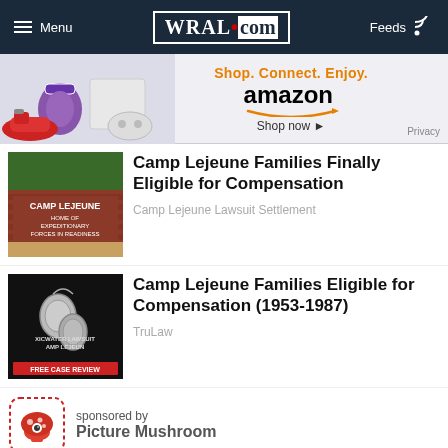Menu | WRAL.com | Feeds
[Figure (screenshot): Amazon advertisement banner: Shop. Connect. Enjoy. Shop now. Amazon logo with smile. Privacy.]
[Figure (photo): Camp Lejeune sign - HOME OF EXPEDITIONARY FORCES IN READINESS]
Camp Lejeune Families Finally Eligible for Compensation
Camp Lejeune Lawsuit Settlement
[Figure (photo): Dark background with dog tags. Text: TOXIC WATER LAWSUIT CAMP LEJEUNE. FREE CASE REVIEW.]
Camp Lejeune Families Eligible for Compensation (1953-1987)
TruLaw
sponsored by Picture Mushroom